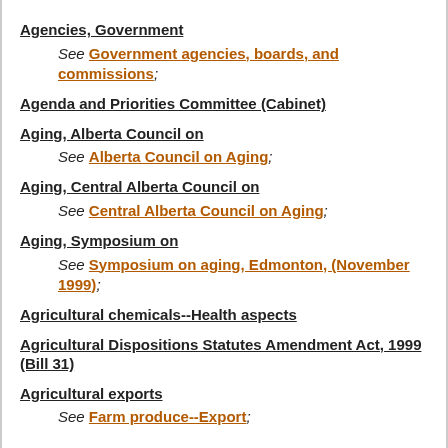Agencies, Government
See Government agencies, boards, and commissions;
Agenda and Priorities Committee (Cabinet)
Aging, Alberta Council on
See Alberta Council on Aging;
Aging, Central Alberta Council on
See Central Alberta Council on Aging;
Aging, Symposium on
See Symposium on aging, Edmonton, (November 1999);
Agricultural chemicals--Health aspects
Agricultural Dispositions Statutes Amendment Act, 1999 (Bill 31)
Agricultural exports
See Farm produce--Export;